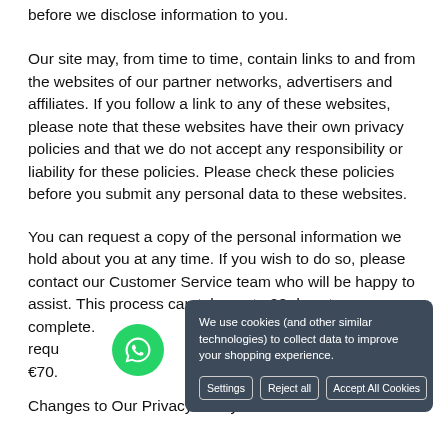before we disclose information to you.
Our site may, from time to time, contain links to and from the websites of our partner networks, advertisers and affiliates. If you follow a link to any of these websites, please note that these websites have their own privacy policies and that we do not accept any responsibility or liability for these policies. Please check these policies before you submit any personal data to these websites.
You can request a copy of the personal information we hold about you at any time. If you wish to do so, please contact our Customer Service team who will be happy to assist. This process can take up to 28 days to complete. tion requ of €70. nt
Changes to Our Privacy Policy